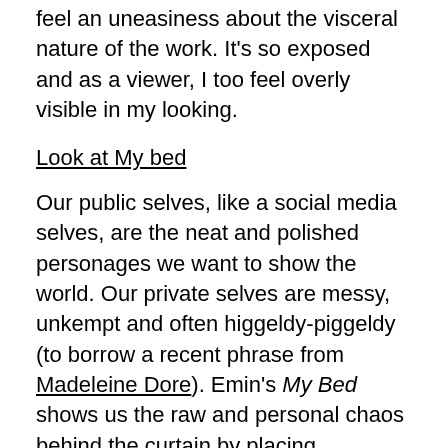feel an uneasiness about the visceral nature of the work. It's so exposed and as a viewer, I too feel overly visible in my looking.
Look at My bed
Our public selves, like a social media selves, are the neat and polished personages we want to show the world. Our private selves are messy, unkempt and often higgeldy-piggeldy (to borrow a recent phrase from Madeleine Dore). Emin's My Bed shows us the raw and personal chaos behind the curtain by placing something so private in public view. It's private but it is personal? Assembling the bed she shared with intimate partners—smoking, drinking and having sex—in a gallery space brings us the unsansitised bedroom, far from the Instagram-worthy neat linen backdrops we might aspire to.
Tracey Emin's private life has always been central to